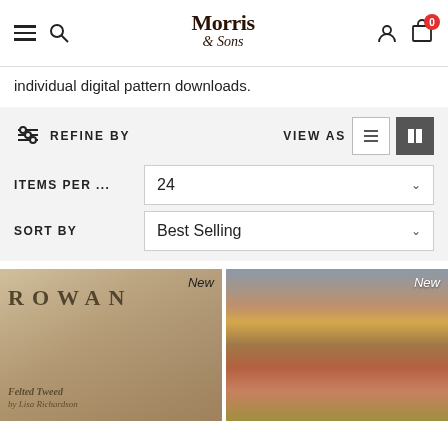Morris & Sons — navigation bar with hamburger, search, logo, account, cart (0)
individual digital pattern downloads.
REFINE BY   VIEW AS
ITEMS PER ...   24
SORT BY   Best Selling
[Figure (photo): Rowan Felted Tweed book cover — woman wearing a fair isle patterned sweater with dark collar, looking down; text 'ROWAN' and 'Felted Tweed by Lisa Richardson'; New badge top right]
[Figure (photo): Woman wearing a striped colorful knit sweater against a stone wall; New badge top right]